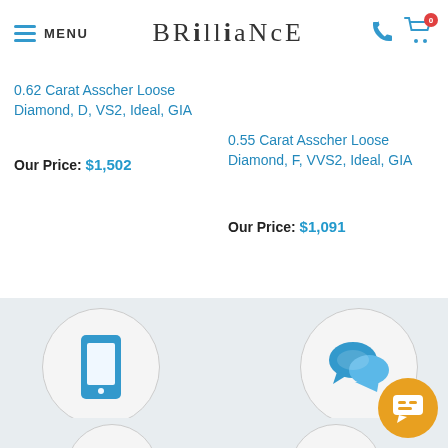MENU | BRILLIANCE
0.62 Carat Asscher Loose Diamond, D, VS2, Ideal, GIA
Our Price: $1,502
0.55 Carat Asscher Loose Diamond, F, VVS2, Ideal, GIA
Our Price: $1,091
[Figure (illustration): Smartphone icon in blue inside a gray circle]
Call Us Now
1-866-737-0754
[Figure (illustration): Chat bubbles icon in blue inside a gray circle]
Live Chat
Instant Advice
[Figure (illustration): Orange circular chat button in bottom right corner]